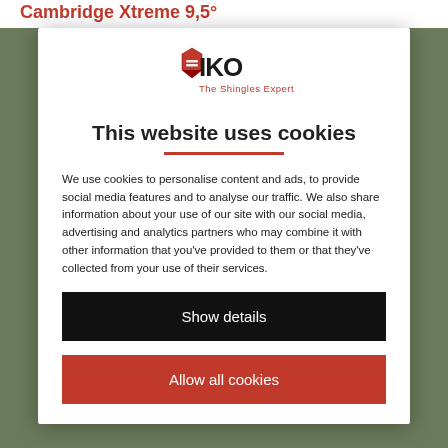Cambridge Xtreme 9,5°
[Figure (logo): IKO logo with knight helmet and text 'The Shingles Expert']
This website uses cookies
We use cookies to personalise content and ads, to provide social media features and to analyse our traffic. We also share information about your use of our site with our social media, advertising and analytics partners who may combine it with other information that you've provided to them or that they've collected from your use of their services.
Show details
Allow all cookies